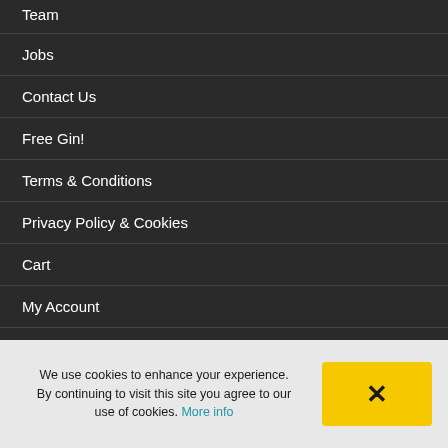Team
Jobs
Contact Us
Free Gin!
Terms & Conditions
Privacy Policy & Cookies
Cart
My Account
Sitemap
We use cookies to enhance your experience. By continuing to visit this site you agree to our use of cookies. More info